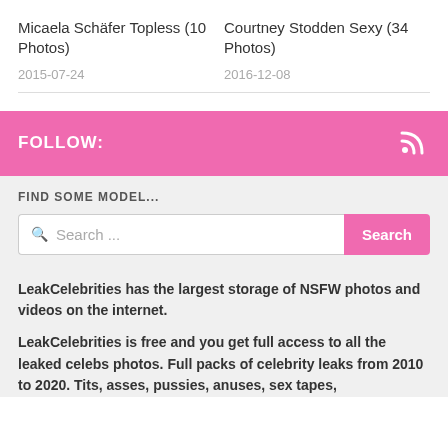Micaela Schäfer Topless (10 Photos)
2015-07-24
Courtney Stodden Sexy (34 Photos)
2016-12-08
FOLLOW:
FIND SOME MODEL...
Search ...
LeakCelebrities has the largest storage of NSFW photos and videos on the internet.
LeakCelebrities is free and you get full access to all the leaked celebs photos. Full packs of celebrity leaks from 2010 to 2020. Tits, asses, pussies, anuses, sex tapes,